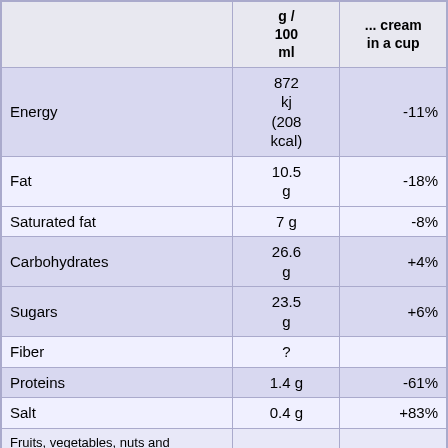|  | g / 100 ml | ... in a cup |
| --- | --- | --- |
| Energy | 872 kj (208 kcal) | -11% |
| Fat | 10.5 g | -18% |
| Saturated fat | 7 g | -8% |
| Carbohydrates | 26.6 g | +4% |
| Sugars | 23.5 g | +6% |
| Fiber | ? |  |
| Proteins | 1.4 g | -61% |
| Salt | 0.4 g | +83% |
| Fruits, vegetables, nuts and rapeseed, walnut and olive oils (estimate from ingredients list analysis) | 4.656 % |  |